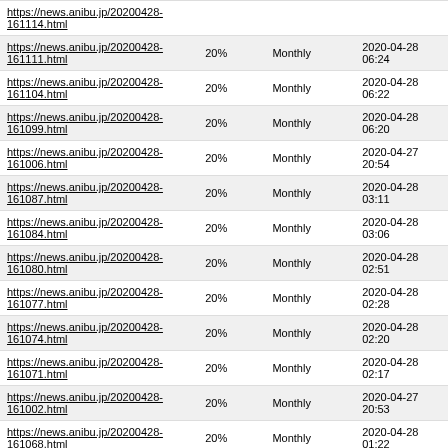| URL | Priority | Change Frequency | Last Modified |
| --- | --- | --- | --- |
| https://news.anibu.jp/20200428-161114.html | 20% | Monthly |  |
| https://news.anibu.jp/20200428-161111.html | 20% | Monthly | 2020-04-28 06:24 |
| https://news.anibu.jp/20200428-161104.html | 20% | Monthly | 2020-04-28 06:22 |
| https://news.anibu.jp/20200428-161099.html | 20% | Monthly | 2020-04-28 06:20 |
| https://news.anibu.jp/20200428-161006.html | 20% | Monthly | 2020-04-27 20:54 |
| https://news.anibu.jp/20200428-161087.html | 20% | Monthly | 2020-04-28 03:11 |
| https://news.anibu.jp/20200428-161084.html | 20% | Monthly | 2020-04-28 03:06 |
| https://news.anibu.jp/20200428-161080.html | 20% | Monthly | 2020-04-28 02:51 |
| https://news.anibu.jp/20200428-161077.html | 20% | Monthly | 2020-04-28 02:28 |
| https://news.anibu.jp/20200428-161074.html | 20% | Monthly | 2020-04-28 02:20 |
| https://news.anibu.jp/20200428-161071.html | 20% | Monthly | 2020-04-28 02:17 |
| https://news.anibu.jp/20200428-161002.html | 20% | Monthly | 2020-04-27 20:53 |
| https://news.anibu.jp/20200428-161068.html | 20% | Monthly | 2020-04-28 01:22 |
| https://news.anibu.jp/20200428-160962.html | 20% | Monthly | 2020-04-27 20:56 |
| https://news.anibu.jp/20200428-161056.html | 20% | Monthly | 2020-04-27 20:49 |
| https://news.anibu.jp/20200427-161053.html | 20% | Monthly | 2020-04-27 10:27 |
| https://news.anibu.jp/20200427-161050.html | 20% | Monthly | 2020-04-27 10:24 |